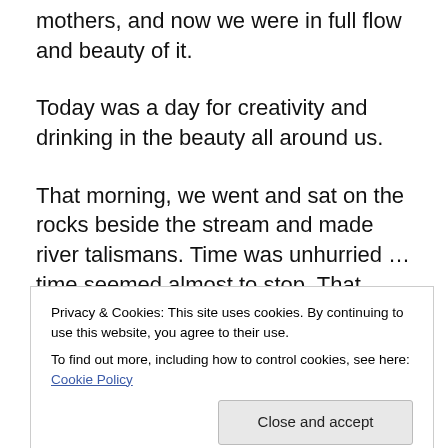mothers, and now we were in full flow and beauty of it.
Today was a day for creativity and drinking in the beauty all around us.
That morning, we went and sat on the rocks beside the stream and made river talismans. Time was unhurried … time seemed almost to stop. That morning could have been 200 years ago, women and girls sitting together, cotton in hands, hand tying and present with our handwork, intention and each other. (One of the enchanted forest's secrets is that time perception changes
Privacy & Cookies: This site uses cookies. By continuing to use this website, you agree to their use.
To find out more, including how to control cookies, see here: Cookie Policy
[Figure (photo): A strip of a photo showing people, partially visible at the bottom of the page.]